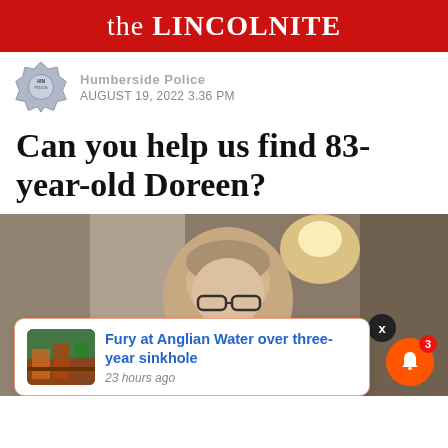the LINCOLNITE
Humberside Police · AUGUST 19, 2022 3.36 PM
Can you help us find 83-year-old Doreen?
[Figure (photo): Photo of an elderly woman with short grey hair and glasses, seated indoors with a lamp glowing in the background.]
Fury at Anglian Water over three-year sinkhole
23 hours ago